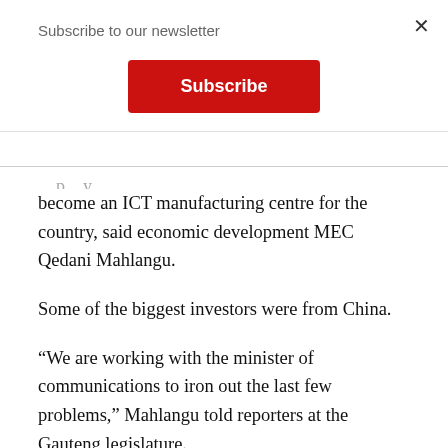Subscribe to our newsletter
[Figure (other): Red Subscribe button]
become an ICT manufacturing centre for the country, said economic development MEC Qedani Mahlangu.
Some of the biggest investors were from China.
“We are working with the minister of communications to iron out the last few problems,” Mahlangu told reporters at the Gauteng legislature.
The SABC and e.tv were in discussions with the provincial government about their involvement in the new development.